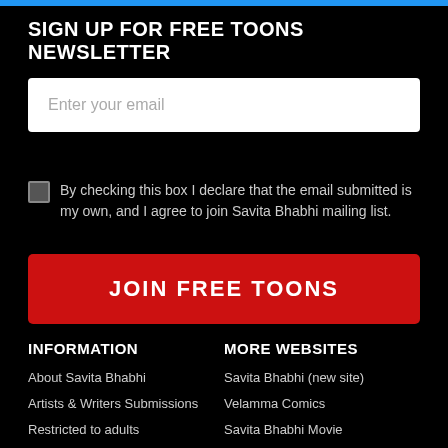SIGN UP FOR FREE TOONS NEWSLETTER
Enter your email
By checking this box I declare that the email submitted is my own, and I agree to join Savita Bhabhi mailing list.
JOIN FREE TOONS
INFORMATION
About Savita Bhabhi
Artists & Writers Submissions
Restricted to adults
Wanna work from home?
Privacy Policy
MORE WEBSITES
Savita Bhabhi (new site)
Velamma Comics
Savita Bhabhi Movie